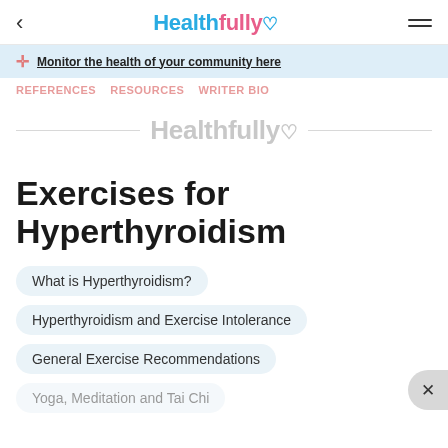Healthfully
Monitor the health of your community here
REFERENCES  RESOURCES  WRITER BIO
[Figure (logo): Healthfully watermark logo centered with horizontal lines on either side]
Exercises for Hyperthyroidism
What is Hyperthyroidism?
Hyperthyroidism and Exercise Intolerance
General Exercise Recommendations
Yoga, Meditation and Tai Chi